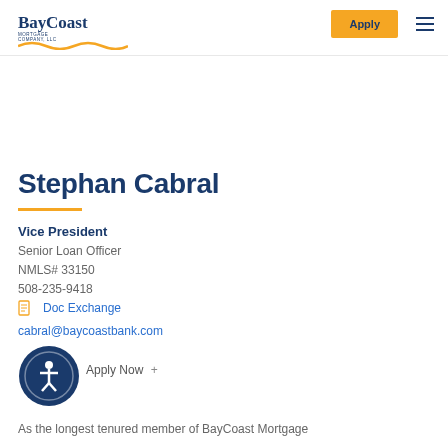BayCoast Mortgage Company - Apply - Menu
Stephan Cabral
Vice President
Senior Loan Officer
NMLS# 33150
508-235-9418
Doc Exchange
cabral@baycoastbank.com
Apply Now +
As the longest tenured member of BayCoast Mortgage